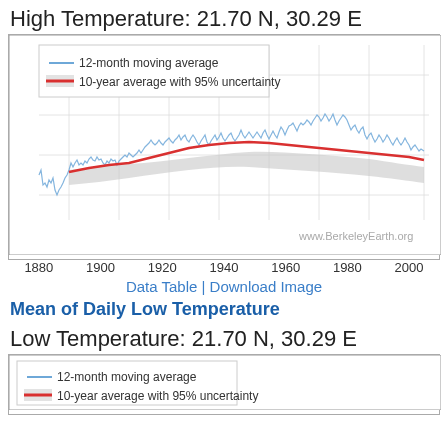High Temperature: 21.70 N, 30.29 E
[Figure (continuous-plot): Time series chart showing 12-month moving average (blue line) and 10-year average with 95% uncertainty (red line with gray band) for High Temperature at 21.70 N, 30.29 E, from approximately 1850 to 2013. The blue line shows high variability; the red line shows a general trend rising from ~1900 then declining after ~1960.]
Data Table | Download Image
Mean of Daily Low Temperature
Low Temperature: 21.70 N, 30.29 E
[Figure (continuous-plot): Partial time series chart showing legend for Low Temperature at 21.70 N, 30.29 E. Legend shows 12-month moving average (blue) and 10-year average with 95% uncertainty (red/gray).]